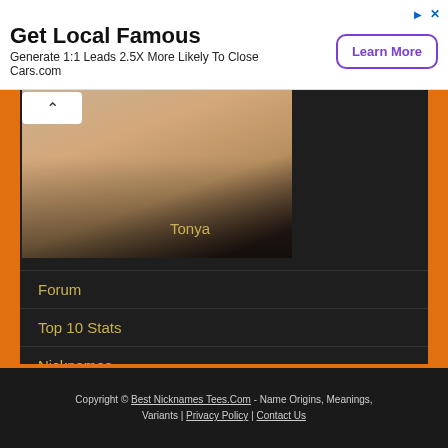[Figure (other): Advertisement banner: Get Local Famous – Generate 1:1 Leads 2.5X More Likely To Close – Cars.com – Learn More button]
[Figure (photo): Portrait photo of a blonde woman named Tonya]
Forum
Top 10 Stats
Nicknames
Lists
Copyright © Best Nicknames Tees.Com - Name Origins, Meanings, Variants | Privacy Policy | Contact Us